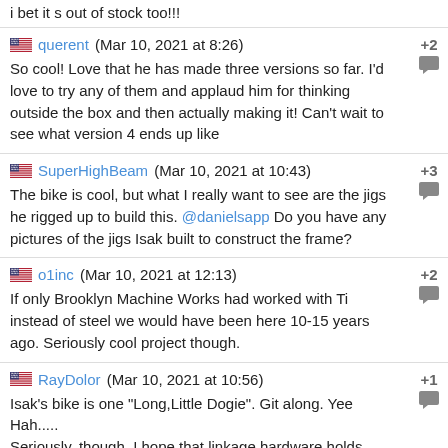i bet it s out of stock too!!!
querent (Mar 10, 2021 at 8:26) +2
So cool! Love that he has made three versions so far. I’d love to try any of them and applaud him for thinking outside the box and then actually making it! Can’t wait to see what version 4 ends up like
SuperHighBeam (Mar 10, 2021 at 10:43) +3
The bike is cool, but what I really want to see are the jigs he rigged up to build this. @danielsapp Do you have any pictures of the jigs Isak built to construct the frame?
o1inc (Mar 10, 2021 at 12:13) +2
If only Brooklyn Machine Works had worked with Ti instead of steel we would have been here 10-15 years ago. Seriously cool project though.
RayDolor (Mar 10, 2021 at 10:56) +1
Isak's bike is one "Long,Little Dogie". Git along. Yee Hah.....
Seriously, though. I hope that linkage hardware holds up....I LIKE the "local hardware store" sourcing.
kvy4128 (Mar 10, 2021 at 7:44)